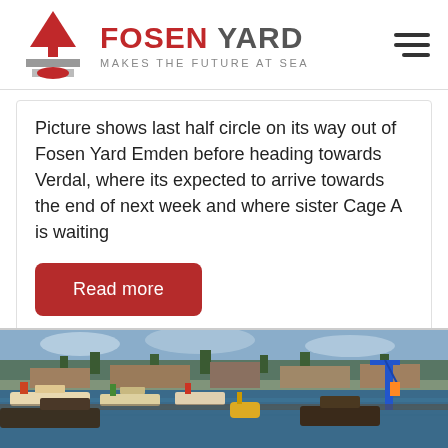[Figure (logo): Fosen Yard logo with red funnel/anchor icon and text FOSEN YARD - MAKES THE FUTURE AT SEA]
Picture shows last half circle on its way out of Fosen Yard Emden before heading towards Verdal, where its expected to arrive towards the end of next week and where sister Cage A is waiting
Read more
[Figure (photo): Aerial/harbor view of shipyard with boats, cranes, and industrial buildings along waterfront]